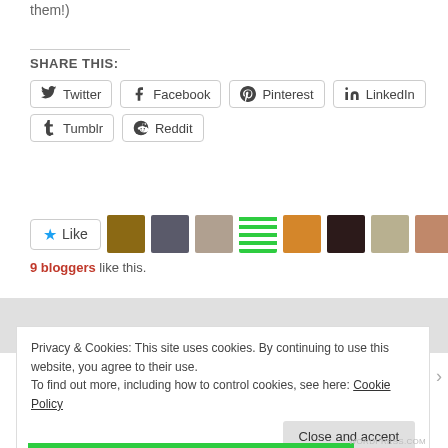them!)
SHARE THIS:
[Figure (screenshot): Social share buttons: Twitter, Facebook, Pinterest, LinkedIn, Tumblr, Reddit]
[Figure (infographic): Like button with star icon and 9 blogger avatars]
9 bloggers like this.
Privacy & Cookies: This site uses cookies. By continuing to use this website, you agree to their use. To find out more, including how to control cookies, see here: Cookie Policy
Close and accept